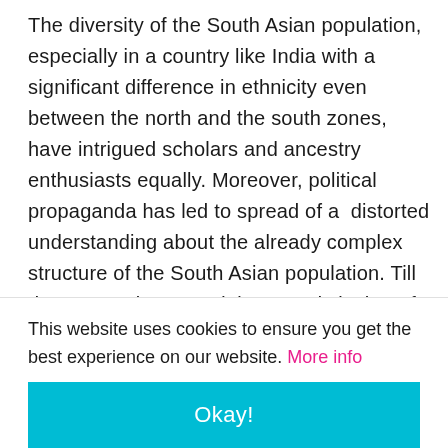The diversity of the South Asian population, especially in a country like India with a significant difference in ethnicity even between the north and the south zones, have intrigued scholars and ancestry enthusiasts equally. Moreover, political propaganda has led to spread of a  distorted understanding about the already complex structure of the South Asian population. Till date a popular story doing rounds is that of the Aryans conquering the Indian
This website uses cookies to ensure you get the best experience on our website. More info
Okay!